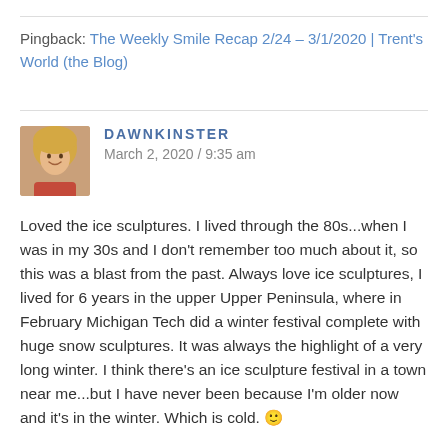Pingback: The Weekly Smile Recap 2/24 – 3/1/2020 | Trent's World (the Blog)
DAWNKINSTER
March 2, 2020 / 9:35 am
Loved the ice sculptures. I lived through the 80s...when I was in my 30s and I don't remember too much about it, so this was a blast from the past. Always love ice sculptures, I lived for 6 years in the upper Upper Peninsula, where in February Michigan Tech did a winter festival complete with huge snow sculptures. It was always the highlight of a very long winter. I think there's an ice sculpture festival in a town near me...but I have never been because I'm older now and it's in the winter. Which is cold. 🙂